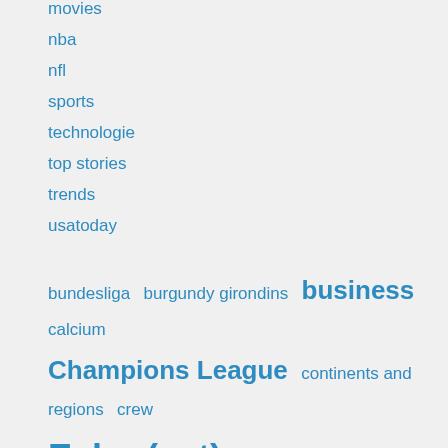movies
nba
nfl
sports
technologie
top stories
trends
usatoday
bundesliga  burgundy girondins  business  calcium  Champions League  continents and regions  crew  Echo (cat)  economy and trade  fc nantes  fifa  figaro  football  French Cup  have monaco  league  League 1  Ligue's cup  last  modern  match